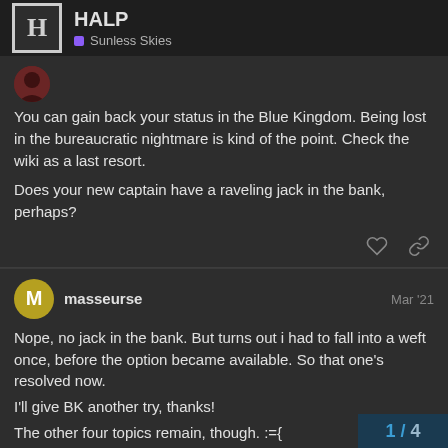HALP — Sunless Skies
You can gain back your status in the Blue Kingdom. Being lost in the bureaucratic nightmare is kind of the point. Check the wiki as a last resort.

Does your new captain have a raveling jack in the bank, perhaps?
masseurse  Mar '21
Nope, no jack in the bank. But turns out i had to fall into a weft once, before the option became available. So that one's resolved now.
I'll give BK another try, thanks!

The other four topics remain, though. :={